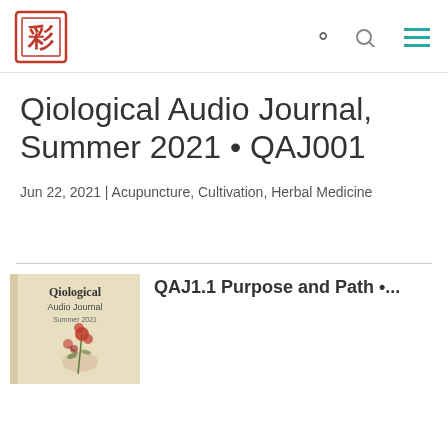Qiological [logo] [search icon] [menu icon]
Qiological Audio Journal, Summer 2021 • QAJ001
Jun 22, 2021 | Acupuncture, Cultivation, Herbal Medicine
[Figure (illustration): Qiological Audio Journal Summer 2021 book cover with red floral illustration on pale yellow/beige background]
QAJ1.1 Purpose and Path •...